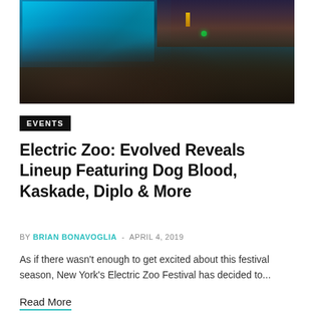[Figure (photo): Aerial view of a large outdoor music festival crowd at dusk, with a large illuminated stage screen on the left showing blue/teal lighting, a colorful sunset sky in the background, and thousands of festival attendees filling the venue.]
EVENTS
Electric Zoo: Evolved Reveals Lineup Featuring Dog Blood, Kaskade, Diplo & More
BY BRIAN BONAVOGLIA - APRIL 4, 2019
As if there wasn't enough to get excited about this festival season, New York's Electric Zoo Festival has decided to...
Read More